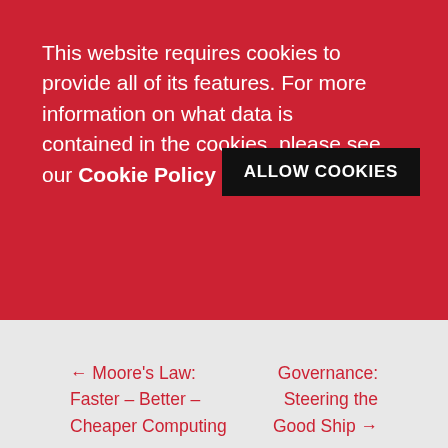This website requires cookies to provide all of its features. For more information on what data is contained in the cookies, please see our Cookie Policy
ALLOW COOKIES
← Moore's Law: Faster – Better – Cheaper Computing
Governance: Steering the Good Ship →
Leave a Reply
Your email address will not be published. Required fields are marked *